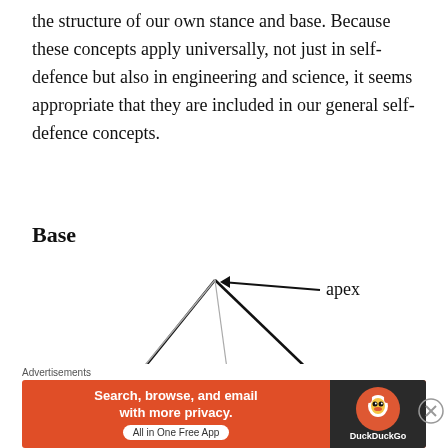the structure of our own stance and base. Because these concepts apply universally, not just in self-defence but also in engineering and science, it seems appropriate that they are included in our general self-defence concepts.
Base
[Figure (illustration): A 3D pyramid diagram with two labeled arrows: 'apex' pointing to the top vertex of the pyramid, and 'base' pointing to the bottom edge. The pyramid has bold black outer edges and lighter gray inner lines indicating the hidden edges and center lines.]
Advertisements — Search, browse, and email with more privacy. All in One Free App — DuckDuckGo